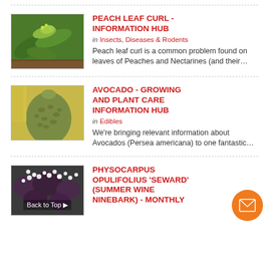[Figure (photo): Close-up photo of peach leaves with peach leaf curl disease, showing green curled and distorted leaves]
PEACH LEAF CURL - INFORMATION HUB
in Insects, Diseases & Rodents
Peach leaf curl is a common problem found on leaves of Peaches and Nectarines (and their…
[Figure (photo): Close-up photo of a large green avocado fruit on a tree]
AVOCADO - GROWING AND PLANT CARE INFORMATION HUB
in Edibles
We're bringing relevant information about Avocados (Persea americana) to one fantastic…
[Figure (photo): Photo of Physocarpus opulifolius 'Seward' (Summer Wine Ninebark) plant with small white flower buds, with Back to Top button overlay]
PHYSOCARPUS OPULIFOLIUS 'SEWARD' (SUMMER WINE NINEBARK) - MONTHLY